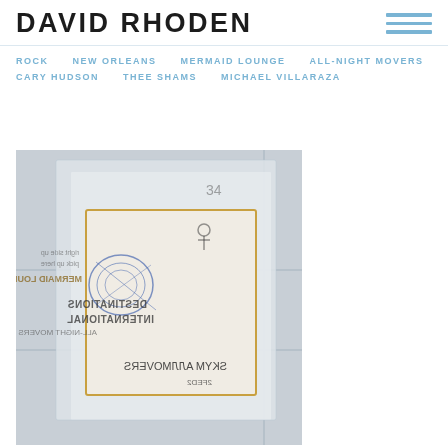DAVID RHODEN
ROCK
NEW ORLEANS
MERMAID LOUNGE
ALL-NIGHT MOVERS
CARY HUDSON
THEE SHAMS
MICHAEL VILLARAZA
[Figure (photo): A photograph showing layered translucent plastic or paper with printed text visible in mirror/reversed orientation. Text includes 'DESTINATIONS INTERNATIONAL', 'ALL-NIGHT MOVERS', 'SKYA', 'MERMAID LOUNGE' and handwritten scribbles. The items appear to be taped or pinned to a tiled wall.]